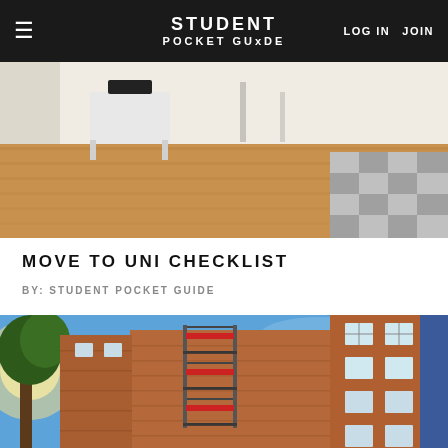STUDENT POCKET GUIDE | LOG IN  JOIN
[Figure (photo): Interior of a student bedroom with wooden laminate floor, a white stool/bench with a black object on it, and a bed with grey checkered bedding visible on the right side]
MOVE TO UNI CHECKLIST
BY: STUDENT POCKET GUIDE
[Figure (photo): Exterior of a multi-storey brick student accommodation building with balconies featuring red railings, a tree on the left with sunlight flare, and a blue sky background]